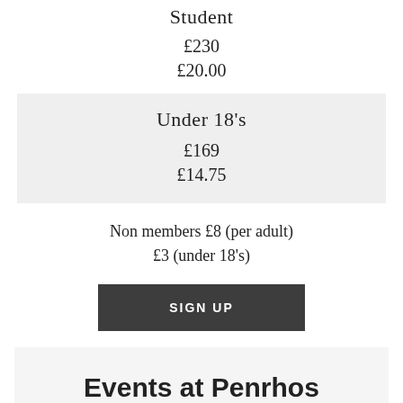Student
£230
£20.00
Under 18's
£169
£14.75
Non members £8 (per adult)
£3 (under 18's)
SIGN UP
Events at Penrhos